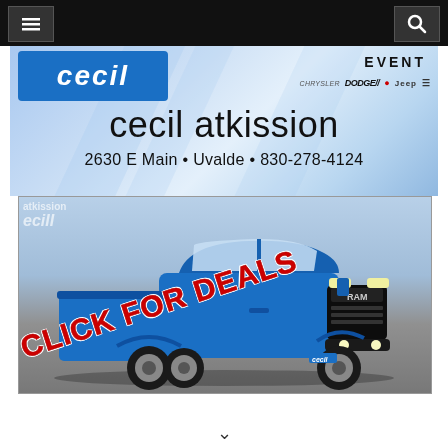[Figure (screenshot): Website navigation bar with menu (hamburger) button on left and search button on right, black background]
[Figure (illustration): Cecil Atkisson dealership advertisement showing the dealer name, address 2630 E Main Uvalde 830-278-4124, brand logos (Chrysler, Dodge, Fiat, Jeep, Ram), and a blue RAM truck with 'CLICK FOR DEALS' text overlaid in red diagonal text]
CLICK FOR DEALS
2630 E Main • Uvalde • 830-278-4124